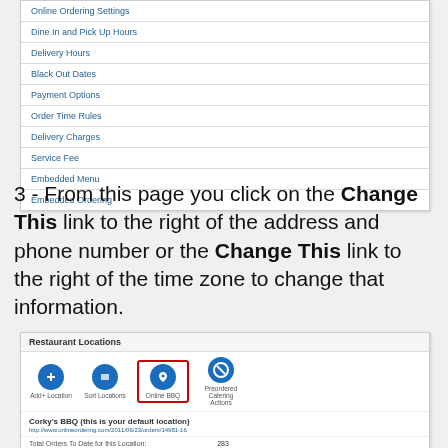[Figure (screenshot): Navigation menu screenshot showing: Online Ordering Settings, Dine In and Pick Up Hours, Delivery Hours, Black Out Dates, Payment Options, Order Time Rules, Delivery Charges, Service Fee, Embedded Menu, Embedded Ordering]
3 - From this page you click on the Change This link to the right of the address and phone number or the Change This link to the right of the time zone to change that information.
[Figure (screenshot): Restaurant Locations page screenshot showing Corky's BBQ as default location with contact info, total orders, total bills, address in Nashville TN, and Change This buttons highlighted in red for contact info and time zone rows.]